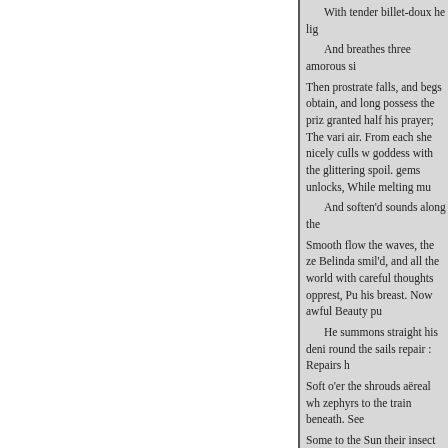With tender billet-doux he lig

And breathes three amorous si

Then prostrate falls, and begs obtain, and long possess the priz granted half his prayer; The vari air. From each she nicely culls w goddess with the glittering spoil. gems unlocks, While melting mu

And soften'd sounds along the

Smooth flow the waves, the ze Belinda smil'd, and all the world with careful thoughts opprest, Pu his breast. Now awful Beauty pu

He summons straight his deni round the sails repair : Repairs h

Soft o'er the shrouds aëreal wh zephyrs to the train beneath. See

Some to the Sun their insect w or sink in clouds of gold ;
« Previous